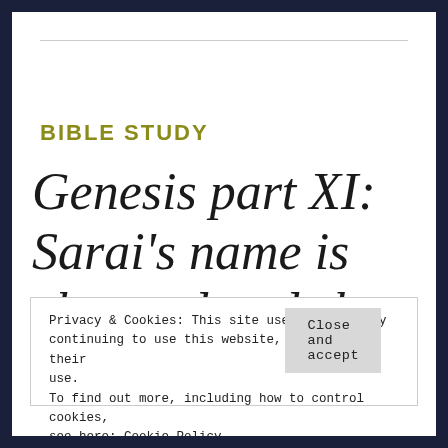BIBLE STUDY
Genesis part XI: Sarai's name is changed and she is reproved for
Privacy & Cookies: This site uses cookies. By continuing to use this website, you agree to their use.
To find out more, including how to control cookies, see here: Cookie Policy
Close and accept